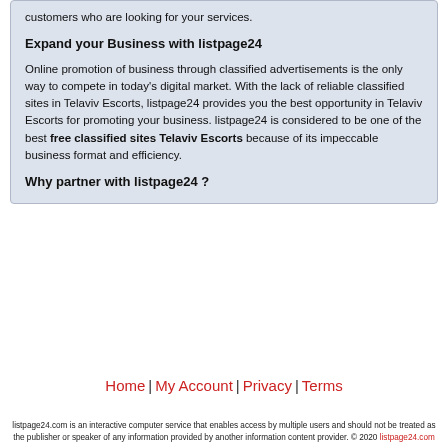customers who are looking for your services.
Expand your Business with listpage24
Online promotion of business through classified advertisements is the only way to compete in today's digital market. With the lack of reliable classified sites in Telaviv Escorts, listpage24 provides you the best opportunity in Telaviv Escorts for promoting your business. listpage24 is considered to be one of the best free classified sites Telaviv Escorts because of its impeccable business format and efficiency.
Why partner with listpage24 ?
Home | My Account | Privacy | Terms
listpage24.com is an interactive computer service that enables access by multiple users and should not be treated as the publisher or speaker of any information provided by another information content provider. © 2020 listpage24.com